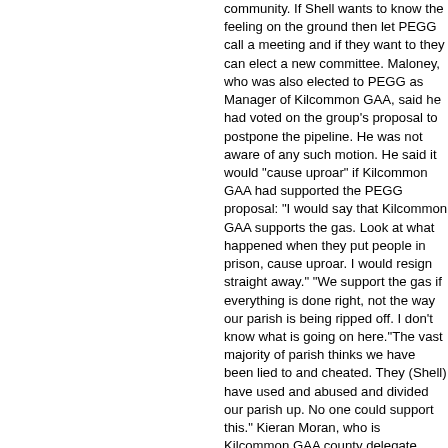community. If Shell wants to know the feeling on the ground then let PEGG call a meeting and if they want to they can elect a new committee. Maloney, who was also elected to PEGG as Manager of Kilcommon GAA, said he had voted on the group's proposal to postpone the pipeline. He was not aware of any such motion. He said it would "cause uproar" if Kilcommon GAA had supported the PEGG proposal: "I would say that Kilcommon GAA supports the gas. Look at what happened when they put people in prison, cause uproar. I would resign straight away." "We support the gas if everything is done right, not the way our parish is being ripped off. I don't know what is going on here."The vast majority of parish thinks we have been lied to and cheated. They (Shell) have used and abused and divided our parish up. No one could support this." Kieran Moran, who is Kilcommon GAA county delegate, said he was not aware of any approach made to the Club in relation to PEGG's proposal. He said such a proposal should have been discussed and voted on.Mr Kevin H, who is a founding member of the Glenamoy Salmon Angling Association and Glenamoy